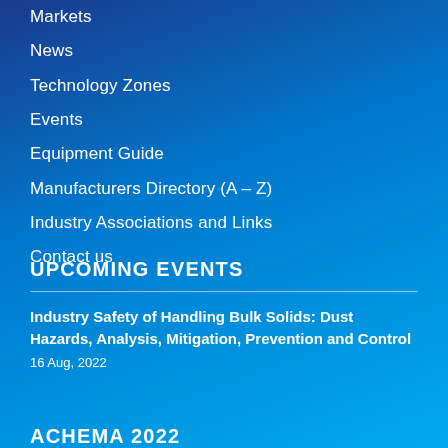Markets
News
Technology Zones
Events
Equipment Guide
Manufacturers Directory (A – Z)
Industry Associations and Links
Contact us
UPCOMING EVENTS
Industry Safety of Handling Bulk Solids: Dust Hazards, Analysis, Mitigation, Prevention and Control
16 Aug, 2022
ACHEMA 2022